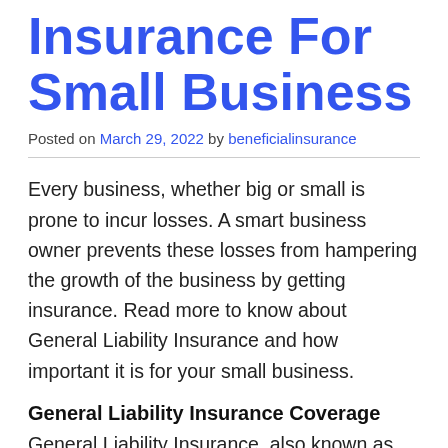General Liability Insurance For Small Business
Posted on March 29, 2022 by beneficialinsurance
Every business, whether big or small is prone to incur losses. A smart business owner prevents these losses from hampering the growth of the business by getting insurance. Read more to know about General Liability Insurance and how important it is for your small business.
General Liability Insurance Coverage
General Liability Insurance, also known as business liability insurance protects businesses